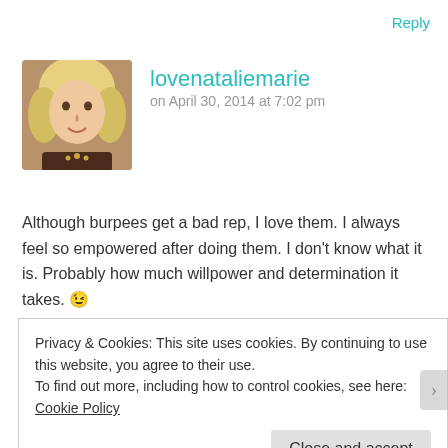Reply
[Figure (photo): Avatar photo of a blonde woman named lovenataliemarie]
lovenataliemarie
on April 30, 2014 at 7:02 pm
Although burpees get a bad rep, I love them. I always feel so empowered after doing them. I don't know what it is. Probably how much willpower and determination it takes. 😉
Reply
Privacy & Cookies: This site uses cookies. By continuing to use this website, you agree to their use.
To find out more, including how to control cookies, see here: Cookie Policy
Close and accept